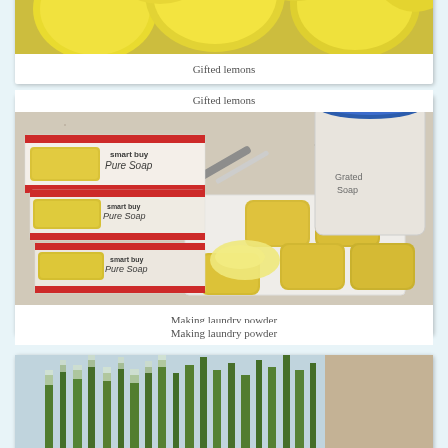[Figure (photo): Close-up photo of several yellow lemons on a white plate]
Gifted lemons
[Figure (photo): Photo of multiple Coles Pure Soap bars in packaging alongside a grater, grated soap, and a plastic container labeled Grated Soap on a kitchen bench]
Making laundry powder
[Figure (photo): Photo of tall green herb plants growing in a garden, partially visible]